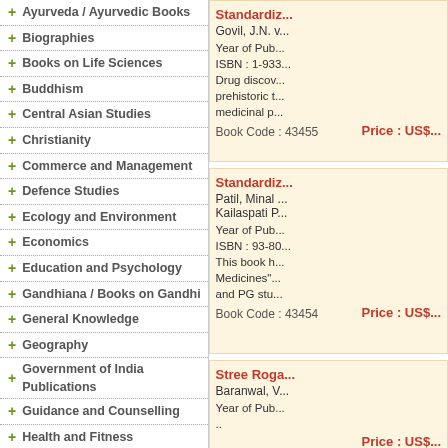+ Ayurveda / Ayurvedic Books
+ Biographies
+ Books on Life Sciences
+ Buddhism
+ Central Asian Studies
+ Christianity
+ Commerce and Management
+ Defence Studies
+ Ecology and Environment
+ Economics
+ Education and Psychology
+ Gandhiana / Books on Gandhi
+ General Knowledge
+ Geography
+ Government of India Publications
+ Guidance and Counselling
+ Health and Fitness
+ Himalayan Studies
+ Hinduism
+ History
+ Human Rights
+ Information Technology
Standardiz... Govil, J.N. v... Year of Pub... ISBN : 1-933... Drug discov... prehistoric t... medicinal p... Book Code : 43455 Price : US$...
Standardiz... Patil, Minal ... Kailaspati P... Year of Pub... ISBN : 93-80... This book h... Medicines"... and PG stu... Book Code : 43454 Price : US$...
Stree Roga... Baranwal, V... Year of Pub... .. Price : US$...